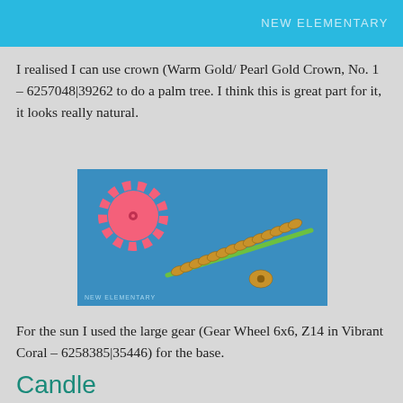NEW ELEMENTARY
I realised I can use crown (Warm Gold/ Pearl Gold Crown, No. 1 – 6257048|39262 to do a palm tree. I think this is great part for it, it looks really natural.
[Figure (photo): Photo of LEGO pieces on a blue background: a pink/coral gear wheel (Gear Wheel 6x6 Z14 in Vibrant Coral), a row of tan/gold crown pieces on a green bar forming a palm trunk shape, and a single small gold crown piece. Watermark text 'NEW ELEMENTARY' in lower left.]
For the sun I used the large gear (Gear Wheel 6x6, Z14 in Vibrant Coral – 6258385|35446) for the base.
Candle